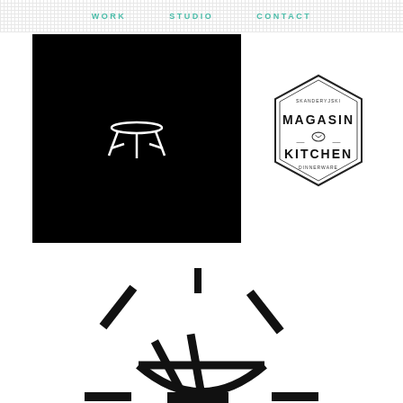WORK   STUDIO   CONTACT
[Figure (illustration): Black square with white stool icon in center]
[Figure (logo): Hexagonal badge logo reading MAGASIN KITCHEN]
[Figure (illustration): Large bowl icon with chopsticks and decorative lines, partially visible at bottom of page]